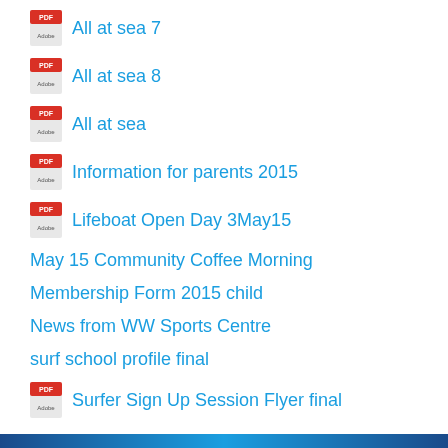All at sea 7
All at sea 8
All at sea
Information for parents 2015
Lifeboat Open Day 3May15
May 15 Community Coffee Morning
Membership Form 2015 child
News from WW Sports Centre
surf school profile final
Surfer Sign Up Session Flyer final